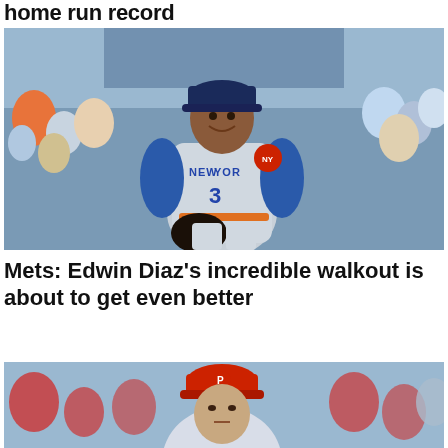home run record
[Figure (photo): New York Mets pitcher Edwin Diaz smiling on the mound, wearing gray Mets road uniform with number 3, crowd in background]
Mets: Edwin Diaz's incredible walkout is about to get even better
[Figure (photo): Philadelphia Phillies pitcher in red cap, partial view, crowd in background]